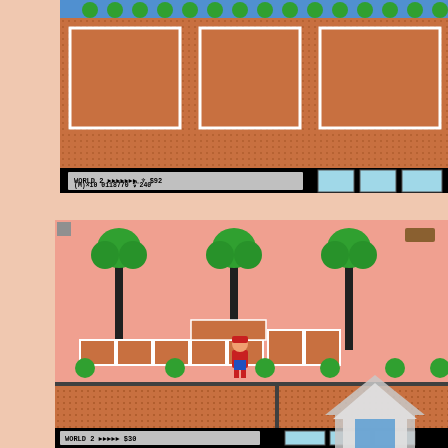[Figure (screenshot): NES video game screenshot (Super Mario Bros. 3 style) showing a level with brown brick platforms on a blue sky background, and a black HUD bar at bottom showing WORLD 2, score 0118770, coins $92, lives (M)x10, timer 240, and three light-blue square icons on the right.]
[Figure (screenshot): NES video game screenshot showing a side-scrolling level with pink background, trees with green foliage on tall black trunks, brown brick platform blocks, green bushes, a Mario character mid-air, and a brown ground with dotted texture. Partially visible HUD bar at bottom. A watermark/logo overlay appears in the bottom-right corner with 'Privacy - Terms' text.]